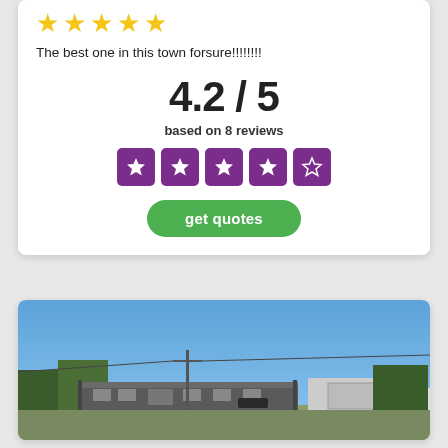[Figure (other): Five yellow star rating icons]
The best one in this town forsure!!!!!!!!
4.2 / 5
based on 8 reviews
[Figure (other): Five purple square star rating icons showing 4 filled and 1 empty star]
get quotes
[Figure (photo): Outdoor photo of a low commercial building with blue sky, trees in background, and parking area]